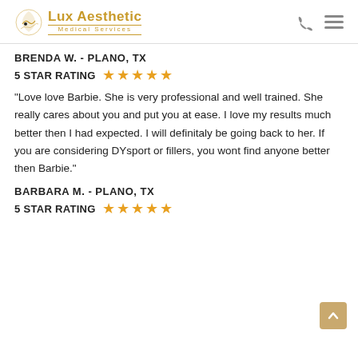Lux Aesthetic Medical Services
BRENDA W. - PLANO, TX
5 STAR RATING ★★★★★
"Love love Barbie. She is very professional and well trained. She really cares about you and put you at ease. I love my results much better then I had expected. I will definitaly be going back to her. If you are considering DYsport or fillers, you wont find anyone better then Barbie."
BARBARA M. - PLANO, TX
5 STAR RATING ★★★★★